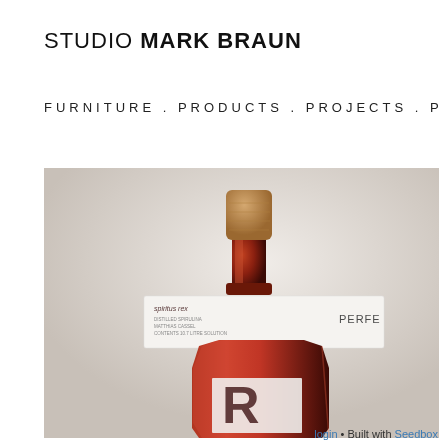STUDIO MARK BRAUN
FURNITURE . PRODUCTS . PROJECTS . P
[Figure (photo): Close-up product photo of a dark amber glass bottle with cork stopper and a white label band reading 'spiritus rex' and 'PERFE...' — a perfume or spirits bottle with apothecary-style design.]
login • Built with Seedbox